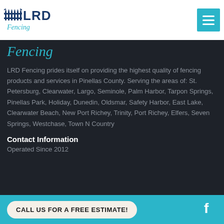[Figure (logo): LRD Fencing logo with fence icon, blue text 'LRD' and teal script 'Fencing']
[Figure (other): Hamburger menu button in teal/cyan square]
Fencing
LRD Fencing prides itself on providing the highest quality of fencing products and services in Pinellas County. Serving the areas of: St. Petersburg, Clearwater, Largo, Seminole, Palm Harbor, Tarpon Springs, Pinellas Park, Holiday, Dunedin, Oldsmar, Safety Harbor, East Lake, Clearwater Beach, New Port Richey, Trinity, Port Richey, Elfers, Seven Springs, Westchase, Town N Country
Contact Information
Operated Since 2012
CALL US FOR A FREE ESTIMATE!